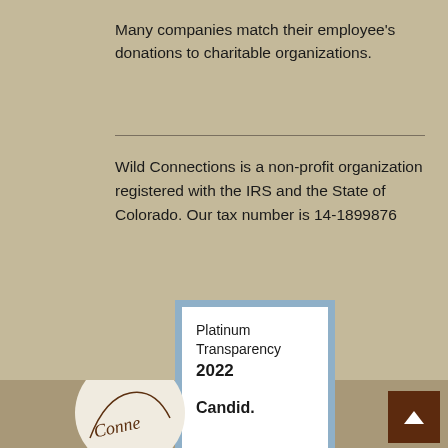Many companies match their employee's donations to charitable organizations.
Wild Connections is a non-profit organization registered with the IRS and the State of Colorado. Our tax number is 14-1899876
[Figure (other): Platinum Transparency 2022 Candid. badge — a white rectangle with light blue border showing 'Platinum Transparency 2022' and 'Candid.' text]
[Figure (logo): Wild Connections logo — partial circular logo showing cursive-style text at bottom of page]